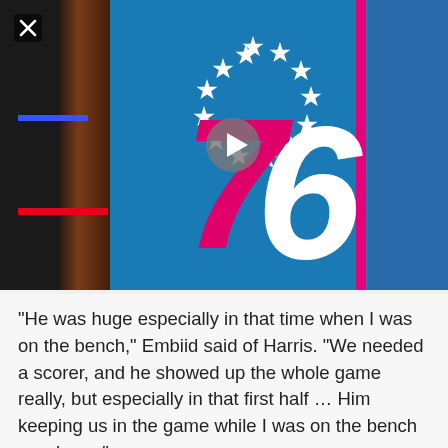[Figure (photo): Philadelphia 76ers logo on a blue background with white stars in a circle, red and white '76' numerals, pink/magenta accent stripe, and a video play button overlay. Left side shows dark panels with colored stripes.]
"He was huge especially in that time when I was on the bench," Embiid said of Harris. "We needed a scorer, and he showed up the whole game really, but especially in that first half … Him keeping us in the game while I was on the bench was huge."